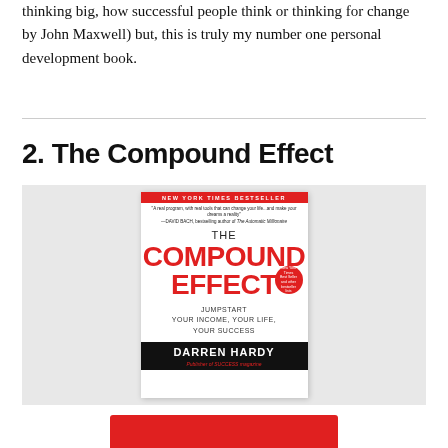thinking big, how successful people think or thinking for change by John Maxwell) but, this is truly my number one personal development book.
2. The Compound Effect
[Figure (photo): Book cover of 'The Compound Effect' by Darren Hardy, Publisher of SUCCESS magazine. New York Times Bestseller. Red and white cover with black author name block at bottom. Subtitle: Jumpstart Your Income, Your Life, Your Success.]
[Figure (other): Partially visible red button at the bottom of the page.]